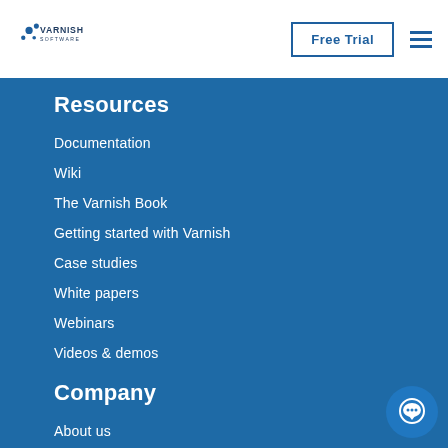[Figure (logo): Varnish Software logo with blue dots and text]
Free Trial
Resources
Documentation
Wiki
The Varnish Book
Getting started with Varnish
Case studies
White papers
Webinars
Videos & demos
Company
About us
Blog